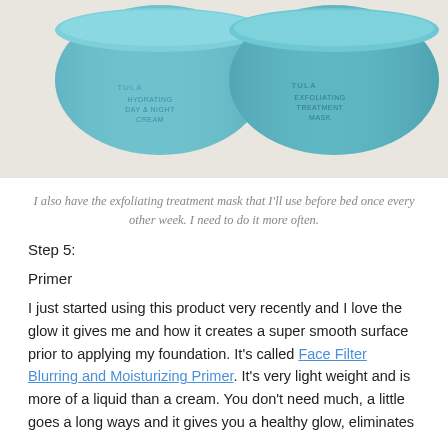[Figure (photo): Two teal/blue cylindrical skincare product containers side by side: left one labeled 'Hydrating Day & Night Cream' and right one labeled 'Exfoliating Treatment Mask', both from TULA brand, on a light surface.]
I also have the exfoliating treatment mask that I'll use before bed once every other week. I need to do it more often.
Step 5:
Primer
I just started using this product very recently and I love the glow it gives me and how it creates a super smooth surface prior to applying my foundation. It's called Face Filter Blurring and Moisturizing Primer. It's very light weight and is more of a liquid than a cream. You don't need much, a little goes a long ways and it gives you a healthy glow, eliminates